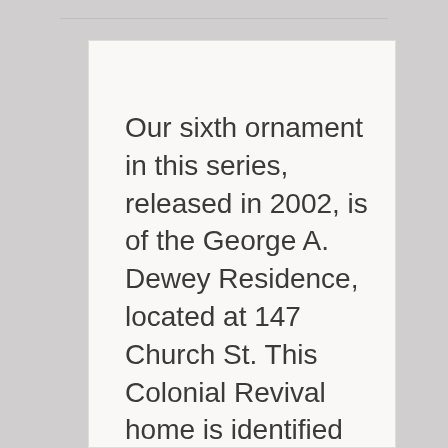Our sixth ornament in this series, released in 2002, is of the George A. Dewey Residence, located at 147 Church St. This Colonial Revival home is identified by its asymmetrical facade, third floor palladian window and its five bay windows. < Go back